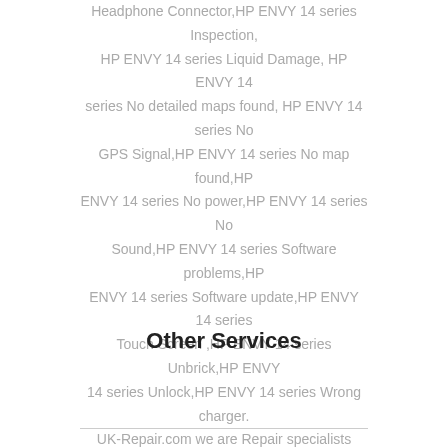Headphone Connector,HP ENVY 14 series Inspection, HP ENVY 14 series Liquid Damage, HP ENVY 14 series No detailed maps found, HP ENVY 14 series No GPS Signal,HP ENVY 14 series No map found,HP ENVY 14 series No power,HP ENVY 14 series No Sound,HP ENVY 14 series Software problems,HP ENVY 14 series Software update,HP ENVY 14 series Touch Screen ,HP ENVY 14 series Unbrick,HP ENVY 14 series Unlock,HP ENVY 14 series Wrong charger. UK-Repair.com we are Repair specialists offering spare parts, dedicated repairs, accessories and servicing for the complete range of smart phone devices. Stocking an extensive range of repairs for HP ENVY 14 series and other units.
Other Services